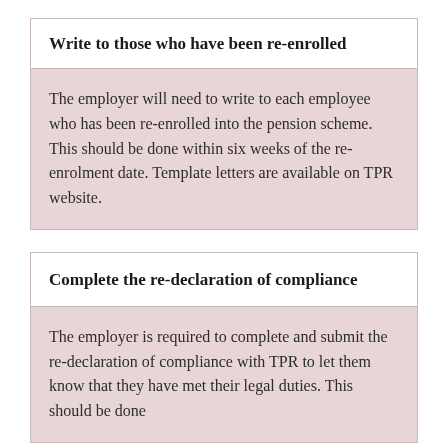Write to those who have been re-enrolled
The employer will need to write to each employee who has been re-enrolled into the pension scheme. This should be done within six weeks of the re-enrolment date. Template letters are available on TPR website.
Complete the re-declaration of compliance
The employer is required to complete and submit the re-declaration of compliance with TPR to let them know that they have met their legal duties. This should be done